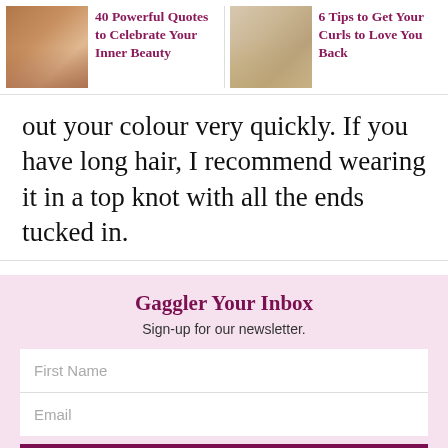40 Powerful Quotes to Celebrate Your Inner Beauty | 6 Tips to Get Your Curls to Love You Back
out your colour very quickly. If you have long hair, I recommend wearing it in a top knot with all the ends tucked in.
Gaggler Your Inbox
Sign-up for our newsletter.
First Name
Email
Subscribe
By clicking 'Subscribe' you agree to receive emails from The